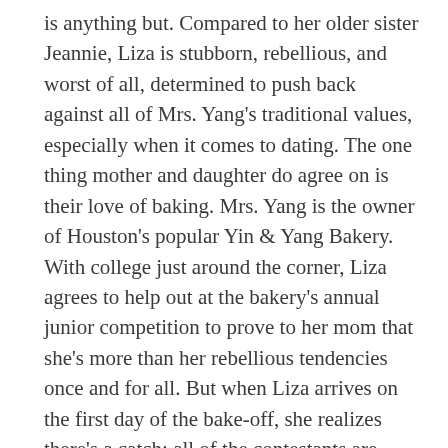is anything but. Compared to her older sister Jeannie, Liza is stubborn, rebellious, and worst of all, determined to push back against all of Mrs. Yang's traditional values, especially when it comes to dating. The one thing mother and daughter do agree on is their love of baking. Mrs. Yang is the owner of Houston's popular Yin & Yang Bakery. With college just around the corner, Liza agrees to help out at the bakery's annual junior competition to prove to her mom that she's more than her rebellious tendencies once and for all. But when Liza arrives on the first day of the bake-off, she realizes there's a catch: all of the contestants are young Asian American men her mother has handpicked for Liza to date. The bachelorette situation Liza has found herself in is made even worse when she happens to be grudgingly attracted to one of the contestants; the stoic, impenetrable, annoyingly hot James Wong. As she battles against her feelings for James, and for her mother's approval, Liza begins to